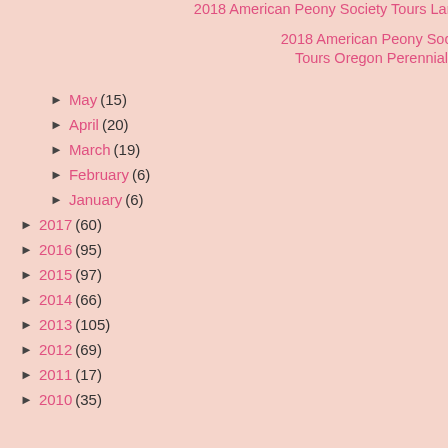2018 American Peony Society Tours Lan Su Chinese G...
2018 American Peony Society Tours Oregon Perennial...
► May (15)
► April (20)
► March (19)
► February (6)
► January (6)
► 2017 (60)
► 2016 (95)
► 2015 (97)
► 2014 (66)
► 2013 (105)
► 2012 (69)
► 2011 (17)
► 2010 (35)
[Figure (photo): Partial image visible in upper right corner, appears to be a framed photograph with dark border on gray/pink background]
Mike is so humb attention to detai creating on-point he visited a local design elements mind, he carefull year the APS cre year was no diffe
Mike's "Tilikum height, mirroring incorporates woo bridge's cables a "Tilikum Crossin